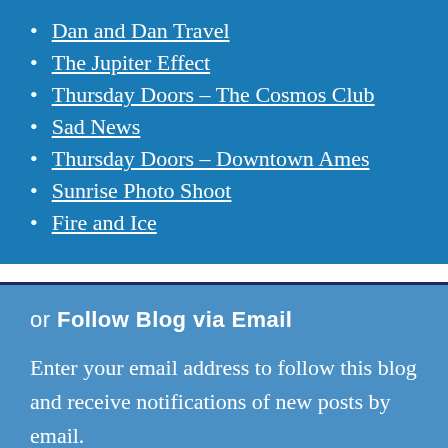Dan and Dan Travel
The Jupiter Effect
Thursday Doors – The Cosmos Club
Sad News
Thursday Doors – Downtown Ames
Sunrise Photo Shoot
Fire and Ice
or Follow Blog via Email
Enter your email address to follow this blog and receive notifications of new posts by email.